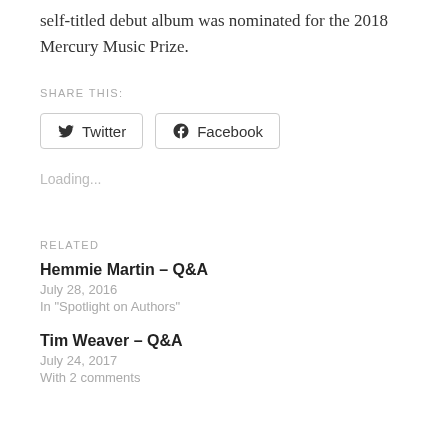self-titled debut album was nominated for the 2018 Mercury Music Prize.
SHARE THIS:
Twitter  Facebook
Loading...
RELATED
Hemmie Martin – Q&A
July 28, 2016
In "Spotlight on Authors"
Tim Weaver – Q&A
July 24, 2017
With 2 comments